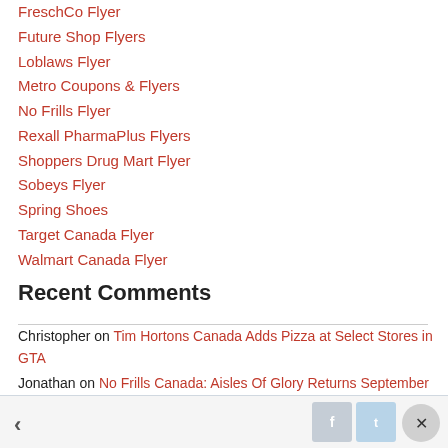FreschCo Flyer
Future Shop Flyers
Loblaws Flyer
Metro Coupons & Flyers
No Frills Flyer
Rexall PharmaPlus Flyers
Shoppers Drug Mart Flyer
Sobeys Flyer
Spring Shoes
Target Canada Flyer
Walmart Canada Flyer
Recent Comments
Christopher on Tim Hortons Canada Adds Pizza at Select Stores in GTA
Jonathan on No Frills Canada: Aisles Of Glory Returns September the 1st!